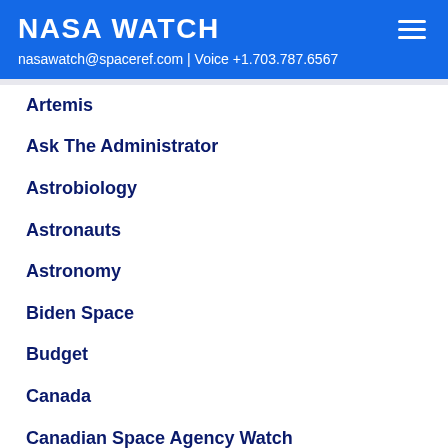NASA WATCH
nasawatch@spaceref.com | Voice +1.703.787.6567
Artemis
Ask The Administrator
Astrobiology
Astronauts
Astronomy
Biden Space
Budget
Canada
Canadian Space Agency Watch
Cape Canaveral
China
Columbia
Commercialization
Congress
Coronavirus